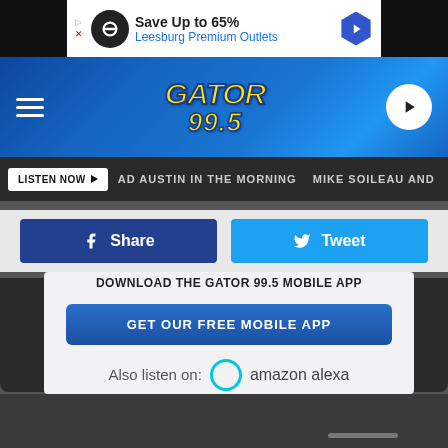[Figure (screenshot): Advertisement banner: Save Up to 65% Leesburg Premium Outlets]
[Figure (logo): Gator 99.5 radio station logo with hamburger menu and play button]
LISTEN NOW  AD AUSTIN IN THE MORNING  MIKE SOILEAU AND
[Figure (screenshot): Share and Tweet buttons row]
DOWNLOAD THE GATOR 99.5 MOBILE APP
GET OUR FREE MOBILE APP
Also listen on:  amazon alexa